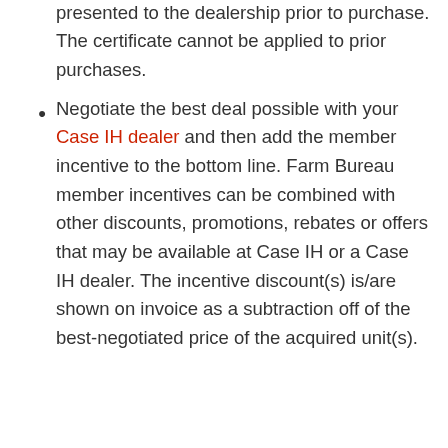member discount. The certificate must be presented to the dealership prior to purchase. The certificate cannot be applied to prior purchases.
Negotiate the best deal possible with your Case IH dealer and then add the member incentive to the bottom line. Farm Bureau member incentives can be combined with other discounts, promotions, rebates or offers that may be available at Case IH or a Case IH dealer. The incentive discount(s) is/are shown on invoice as a subtraction off of the best-negotiated price of the acquired unit(s).